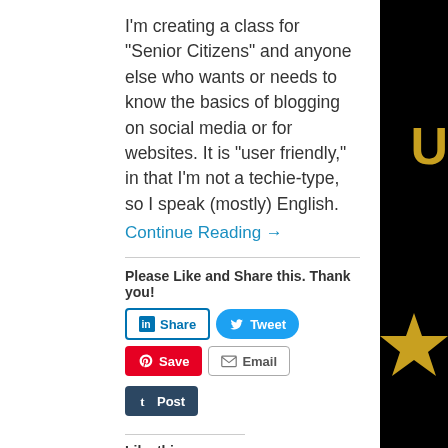I'm creating a class for “Senior Citizens” and anyone else who wants or needs to know the basics of blogging on social media or for websites. It is “user friendly,” in that I'm not a techie-type, so I speak (mostly) English.
Continue Reading →
Please Like and Share this. Thank you!
Like this:
Be the first to like this.
Posted in Classes, Presentations, Products & Services |
Tagged blog, blogging, blogs, Classes, How To Start A